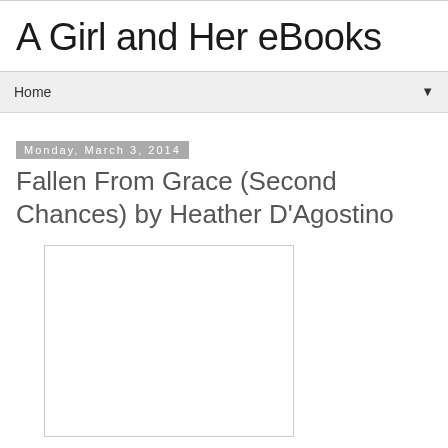A Girl and Her eBooks
Home
Monday, March 3, 2014
Fallen From Grace (Second Chances) by Heather D'Agostino
[Figure (other): Book cover image placeholder — white rectangle with light gray border]